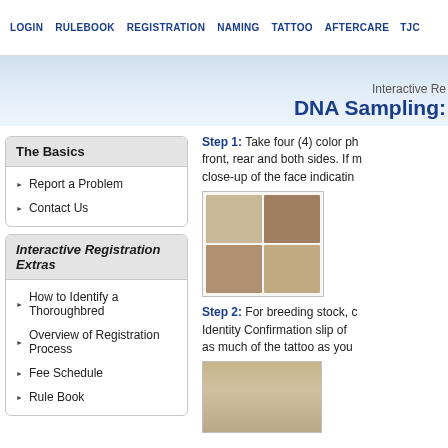LOGIN  RULEBOOK  REGISTRATION  NAMING  TATTOO  AFTERCARE  TJC
Interactive Re... DNA Sampling:
The Basics
Report a Problem
Contact Us
Interactive Registration Extras
How to Identify a Thoroughbred
Overview of Registration Process
Fee Schedule
Rule Book
Step 1: Take four (4) color ph... front, rear and both sides. If m... close-up of the face indicatin...
[Figure (photo): Four color photographs of a horse from different angles arranged in a 2x2 grid]
Step 2: For breeding stock, c... Identity Confirmation slip of ... as much of the tattoo as you...
[Figure (photo): Close-up photograph of a horse's face with a person]